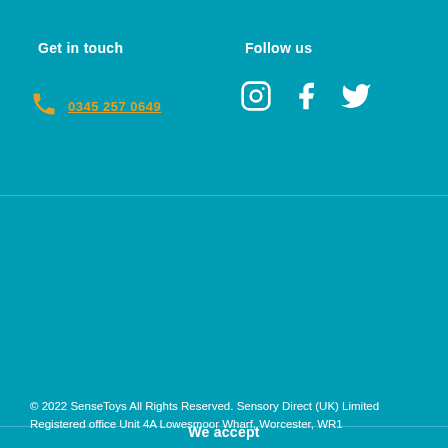Get in touch
Follow us
0345 257 0649
[Figure (illustration): Social media icons: Instagram, Facebook, Twitter]
We accept
[Figure (illustration): Payment method icons: Amex, Apple Pay, Diners Club, Discover, Google Pay, Maestro, Mastercard, PayPal, Samsung Pay, Visa]
© 2022 SenseToys All Rights Reserved. Sensory Direct (UK) Limited
Registered office Unit 4A Lowesmoor Wharf, Worcester, WR1